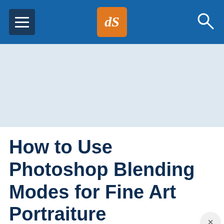dPS navigation header with hamburger menu, dPS logo, and search icon
[Figure (other): Light blue advertisement banner placeholder area]
How to Use Photoshop Blending Modes for Fine Art Portraiture